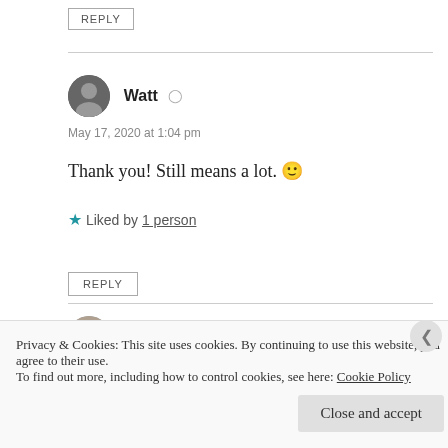REPLY
Watt
May 17, 2020 at 1:04 pm
Thank you! Still means a lot. 🙂
★ Liked by 1 person
REPLY
Poetnas
Privacy & Cookies: This site uses cookies. By continuing to use this website, you agree to their use. To find out more, including how to control cookies, see here: Cookie Policy
Close and accept